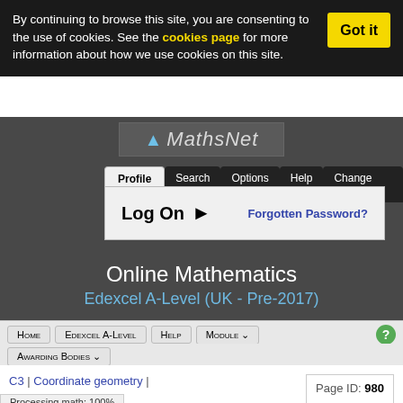By continuing to browse this site, you are consenting to the use of cookies. See the cookies page for more information about how we use cookies on this site.
[Figure (screenshot): MathsNet logo with blue arrow and italic text on dark grey background]
Profile | Search | Options | Help | Change Syllabus
Log On ▶   Forgotten Password?
Online Mathematics
Edexcel A-Level (UK - Pre-2017)
Home  Edexcel A-Level  Help  Module ∨  Awarding Bodies ∨
C3 | Coordinate geometry | Rational curves |  Page ID: 980  « Quadratic denominator 3 »
Processing math: 100%